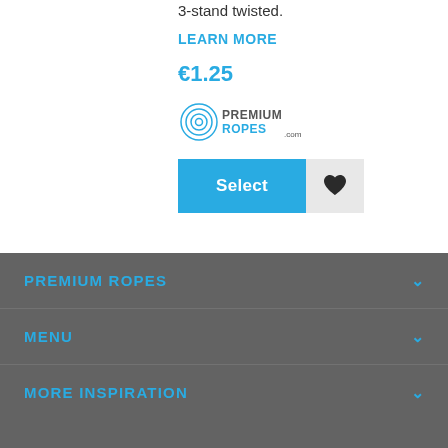3-stand twisted.
LEARN MORE
€1.25
[Figure (logo): PremiumRopes.com logo with spiral icon]
Select
PREMIUM ROPES
MENU
MORE INSPIRATION